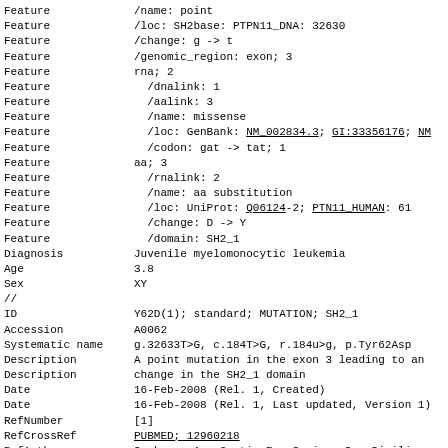| Feature | /name: point |
| Feature | /loc: SH2base: PTPN11_DNA: 32630 |
| Feature | /change: g -> t |
| Feature | /genomic_region: exon; 3 |
| Feature | rna; 2 |
| Feature | /dnalink: 1 |
| Feature | /aaink: 3 |
| Feature | /name: missense |
| Feature | /loc: GenBank: NM_002834.3; GI:33356176; NM |
| Feature | /codon: gat -> tat; 1 |
| Feature | aa; 3 |
| Feature | /rnalink: 2 |
| Feature | /name: aa substitution |
| Feature | /loc: UniProt: Q06124-2; PTN11_HUMAN: 61 |
| Feature | /change: D -> Y |
| Feature | /domain: SH2_1 |
| Diagnosis | Juvenile myelomonocytic leukemia |
| Age | 3.8 |
| Sex | XY |
| // |  |
| ID | Y62D(1); standard; MUTATION; SH2_1 |
| Accession | A0062 |
| Systematic name | g.32633T>G, c.184T>G, r.184u>g, p.Tyr62Asp |
| Description | A point mutation in the exon 3 leading to an |
| Description | change in the SH2_1 domain |
| Date | 16-Feb-2008 (Rel. 1, Created) |
| Date | 16-Feb-2008 (Rel. 1, Last updated, Version 1) |
| RefNumber | [1] |
| RefCrossRef | PUBMED; 12960218 |
| RefAuthors | Sarkozy, A., Conti, E., Seripa, D., Digilio, |
| RefAuthors | Grifone, N., Tandoi, C., Fazio, V. M., Di Cio |
| RefAuthors | Marino, B., Pizzuti, A., Dallapiccola, B. |
| RefTitle | Correlation between PTPN11 gene mutations and |